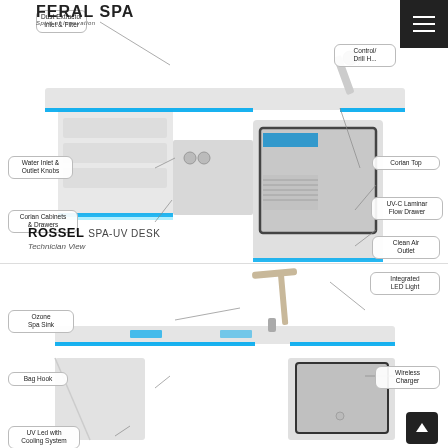[Figure (engineering-diagram): ROSSEL SPA-UV Desk technician view diagram with labeled components: Dust Extractor Inlet & Filter, Water Inlet & Outlet Knobs, Corian Cabinets & Drawers, Control/Drill Handpiece, Corian Top, UV-C Laminar Flow Drawer, Clean Air Outlet. Desk has blue LED accent lighting and white Corian surfaces.]
ROSSEL SPA-UV DESK
Technician View
[Figure (engineering-diagram): Second view of ROSSEL SPA-UV Desk (client/front view) with labeled components: Integrated LED Light, Ozone Spa Sink, Bag Hook, Wireless Charger, UV Led with Cooling System. Desk shown with LED desk lamp attached and blue accent lighting.]